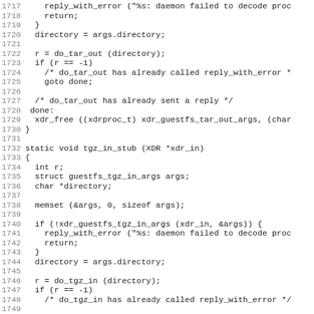Source code listing lines 1717–1748
1717   reply_with_error ("%s: daemon failed to decode proc
1718     return;
1719   }
1720   directory = args.directory;
1721
1722   r = do_tar_out (directory);
1723   if (r == -1)
1724     /* do_tar_out has already called reply_with_error *
1725     goto done;
1726
1727   /* do_tar_out has already sent a reply */
1728 done:
1729   xdr_free ((xdrproc_t) xdr_guestfs_tar_out_args, (char
1730 }
1731
1732 static void tgz_in_stub (XDR *xdr_in)
1733 {
1734   int r;
1735   struct guestfs_tgz_in_args args;
1736   char *directory;
1737
1738   memset (&args, 0, sizeof args);
1739
1740   if (!xdr_guestfs_tgz_in_args (xdr_in, &args)) {
1741     reply_with_error ("%s: daemon failed to decode proc
1742     return;
1743   }
1744   directory = args.directory;
1745
1746   r = do_tgz_in (directory);
1747   if (r == -1)
1748     /* do_tgz_in has already called reply_with_error */